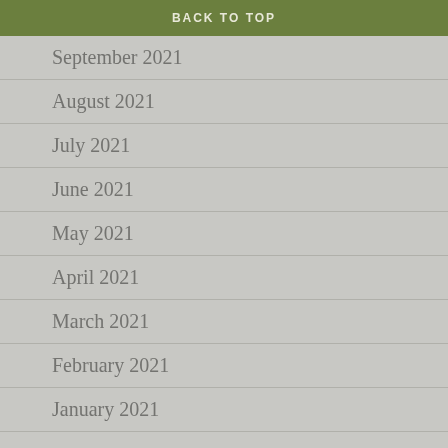BACK TO TOP
September 2021
August 2021
July 2021
June 2021
May 2021
April 2021
March 2021
February 2021
January 2021